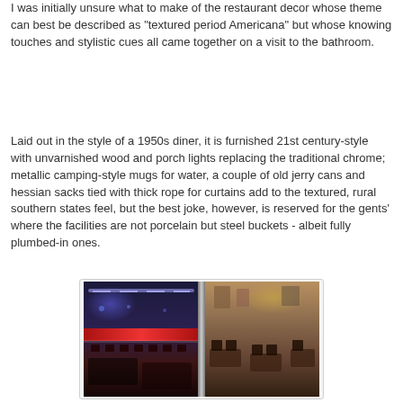I was initially unsure what to make of the restaurant decor whose theme can best be described as "textured period Americana" but whose knowing touches and stylistic cues all came together on a visit to the bathroom.
Laid out in the style of a 1950s diner, it is furnished 21st century-style with unvarnished wood and porch lights replacing the traditional chrome; metallic camping-style mugs for water, a couple of old jerry cans and hessian sacks tied with thick rope for curtains add to the textured, rural southern states feel, but the best joke, however, is reserved for the gents' where the facilities are not porcelain but steel buckets - albeit fully plumbed-in ones.
[Figure (photo): Interior of a restaurant styled as a 1950s American diner with modern touches. Left side shows a bar area with purple/blue lighting and a red illuminated counter. Right side shows the dining area with warm brown wooden tones, tables and chairs, separated by a structural pillar.]